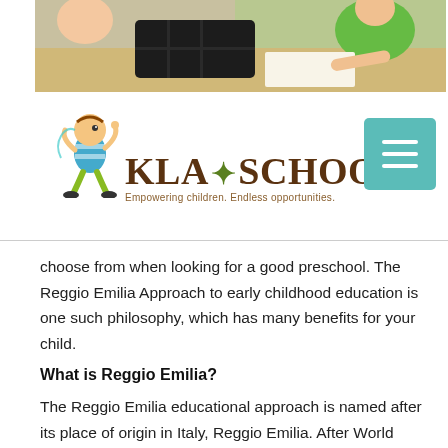[Figure (photo): Photo of children at a table doing art/crafts activities, with a black divided tray visible, one child in green shirt]
[Figure (logo): KLA Schools logo with cartoon child mascot, text 'KLA SCHOOLS' with registered trademark, tagline 'Empowering children. Endless opportunities.']
choose from when looking for a good preschool. The Reggio Emilia Approach to early childhood education is one such philosophy, which has many benefits for your child.
What is Reggio Emilia?
The Reggio Emilia educational approach is named after its place of origin in Italy, Reggio Emilia. After World War II, Loris Malaguzzi and the parents of Reggio Emilia, Italy believed in creating for the students...